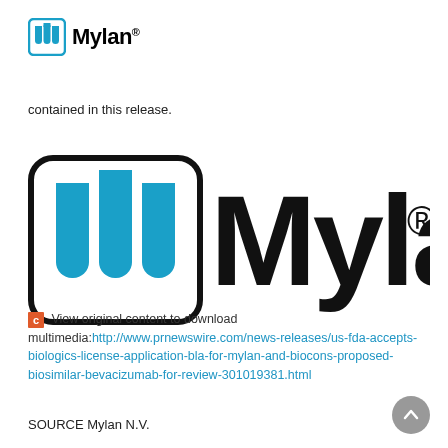[Figure (logo): Mylan logo in page header: three blue test tubes in a rounded square followed by 'Mylan' wordmark with registered trademark symbol]
contained in this release.
[Figure (logo): Large Mylan logo: three blue test tubes in a rounded square followed by large 'Mylan' wordmark with registered trademark symbol]
View original content to download multimedia:http://www.prnewswire.com/news-releases/us-fda-accepts-biologics-license-application-bla-for-mylan-and-biocons-proposed-biosimilar-bevacizumab-for-review-301019381.html
SOURCE Mylan N.V.